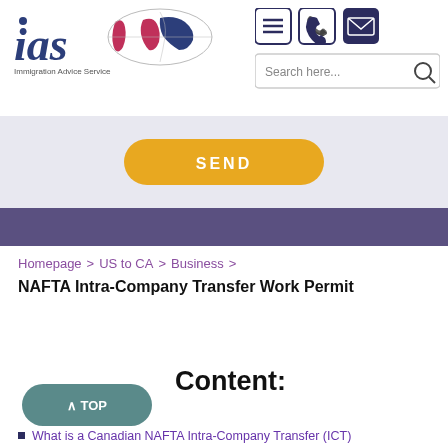[Figure (logo): IAS Immigration Advice Service logo with world map]
[Figure (screenshot): Navigation icons: hamburger menu, phone, mail envelope; search bar with 'Search here...']
[Figure (other): Yellow SEND button on light grey background]
[Figure (other): Purple/dark lavender horizontal band]
Homepage > US to CA > Business >
NAFTA Intra-Company Transfer Work Permit
Content:
[Figure (other): Teal TOP scroll-to-top button with upward caret]
What is a Canadian NAFTA Intra-Company Transfer (ICT)